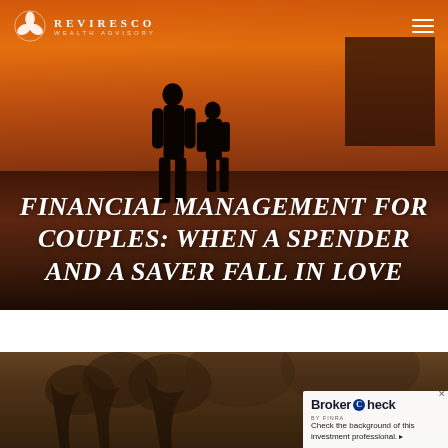[Figure (photo): Hero image of two silhouetted people walking on a beach at sunset with dramatic orange and red sky, with a building visible in the top right. REVIRESCO WEALTH ADVISORY logo and hamburger menu overlay the top.]
FINANCIAL MANAGEMENT FOR COUPLES: WHEN A SPENDER AND A SAVER FALL IN LOVE
[Figure (photo): Second photo showing a warm sepia-toned image of trees/foliage in a park or outdoor setting with a couple, with a BrokerCheck by FINRA badge overlaid in the bottom right corner.]